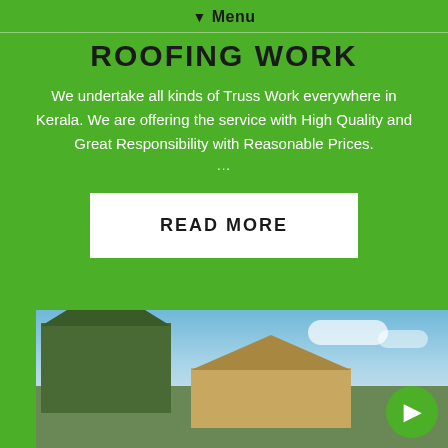☰ Menu
ROOFING WORK
We undertake all kinds of Truss Work everywhere in Kerala. We are offering the service with High Quality and Great Responsibility with Reasonable Prices.
...
READ MORE
[Figure (photo): Photo of roofing structures under a blue sky with clouds, showing traditional and modern roof constructions with green surroundings.]